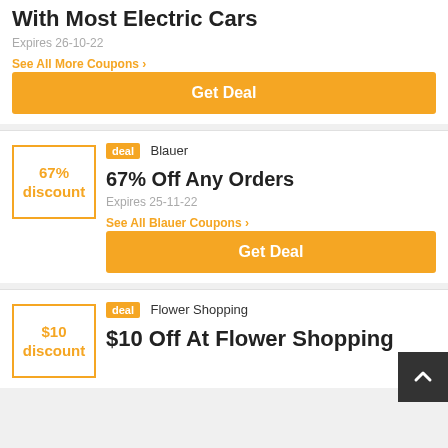With Most Electric Cars
Expires 26-10-22
See All More Coupons
Get Deal
67% discount
deal  Blauer
67% Off Any Orders
Expires 25-11-22
See All Blauer Coupons
Get Deal
$10 discount
deal  Flower Shopping
$10 Off At Flower Shopping